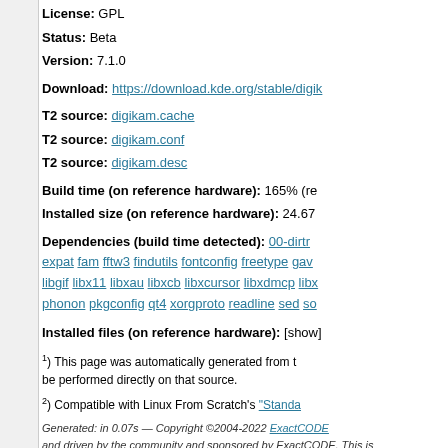License: GPL
Status: Beta
Version: 7.1.0
Download: https://download.kde.org/stable/digik...
T2 source: digikam.cache
T2 source: digikam.conf
T2 source: digikam.desc
Build time (on reference hardware): 165% (re...
Installed size (on reference hardware): 24.67
Dependencies (build time detected): 00-dirtr... expat fam fftw3 findutils fontconfig freetype gav... libgif libx11 libxau libxcb libxcursor libxdmcp libx... phonon pkgconfig qt4 xorgproto readline sed so...
Installed files (on reference hardware): [show]
1) This page was automatically generated from t... be performed directly on that source.
2) Compatible with Linux From Scratch's "Standa...
Generated: in 0.07s — Copyright ©2004-2022 ExactCODE... and driven by the community and sponsored by ExactCODE. This is...